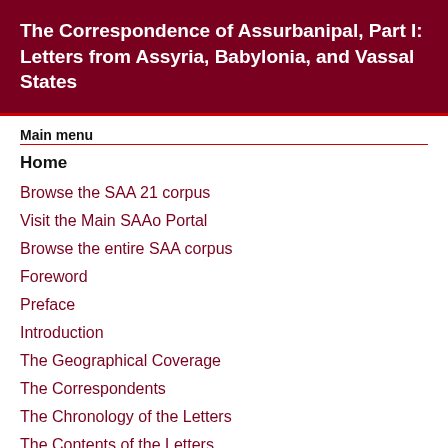The Correspondence of Assurbanipal, Part I: Letters from Assyria, Babylonia, and Vassal States
Main menu
Home
Browse the SAA 21 corpus
Visit the Main SAAo Portal
Browse the entire SAA corpus
Foreword
Preface
Introduction
The Geographical Coverage
The Correspondents
The Chronology of the Letters
The Contents of the Letters
Composing the Royal Letters
On the Present Edition